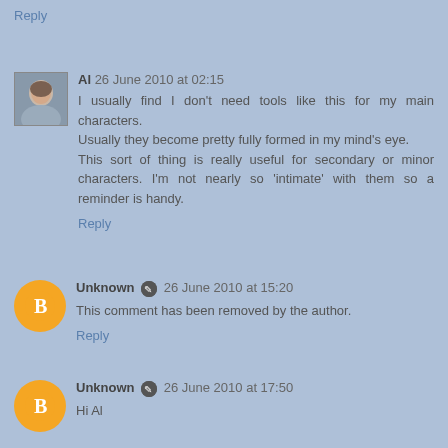Reply
Al 26 June 2010 at 02:15
I usually find I don't need tools like this for my main characters.
Usually they become pretty fully formed in my mind's eye.
This sort of thing is really useful for secondary or minor characters. I'm not nearly so 'intimate' with them so a reminder is handy.
Reply
Unknown 26 June 2010 at 15:20
This comment has been removed by the author.
Reply
Unknown 26 June 2010 at 17:50
Hi Al